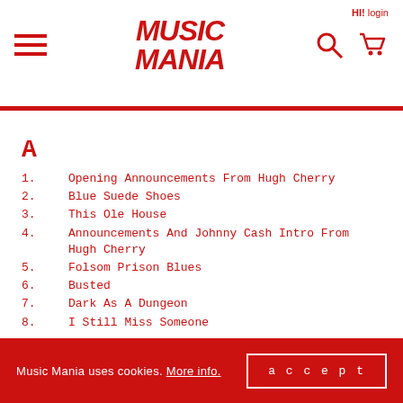Music Mania - HI! login
A
1.  Opening Announcements From Hugh Cherry
2.  Blue Suede Shoes
3.  This Ole House
4.  Announcements And Johnny Cash Intro From Hugh Cherry
5.  Folsom Prison Blues
6.  Busted
7.  Dark As A Dungeon
8.  I Still Miss Someone
B
1.  Cocaine Blues
Music Mania uses cookies. More info. accept